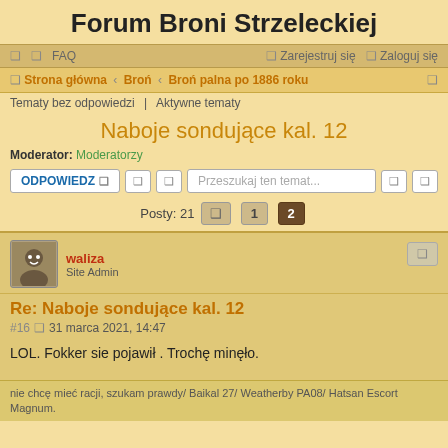Forum Broni Strzeleckiej
❑  ❑  FAQ    ❑ Zarejestruj się  ❑ Zaloguj się
❑ Strona główna ‹ Broń ‹ Broń palna po 1886 roku
Tematy bez odpowiedzi   Aktywne tematy
Naboje sondujące kal. 12
Moderator: Moderatorzy
ODPOWIEDZ  |  Przeszukaj ten temat...
Posty: 21   1  2
waliza
Site Admin
Re: Naboje sondujące kal. 12
#16  ❑  31 marca 2021, 14:47
LOL. Fokker sie pojawił . Trochę minęło.
nie chcę mieć racji, szukam prawdy/ Baikal 27/ Weatherby PA08/ Hatsan Escort Magnum.